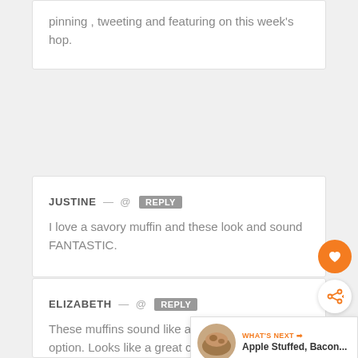pinning , tweeting and featuring on this week's hop.
JUSTINE — @ REPLY
I love a savory muffin and these look and sound FANTASTIC.
ELIZABETH — @ REPLY
These muffins sound like a fantastic brunch option. Looks like a great cookcook t...